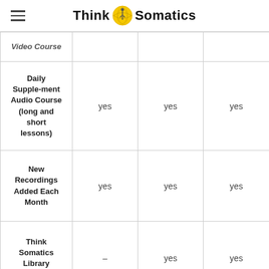Think Somatics
| Feature | Plan 1 | Plan 2 | Plan 3 |
| --- | --- | --- | --- |
| Video Course |  |  |  |
| Daily Supple-ment Audio Course (long and short lessons) | yes | yes | yes |
| New Recordings Added Each Month | yes | yes | yes |
| Think Somatics Library Archives | – | yes | yes |